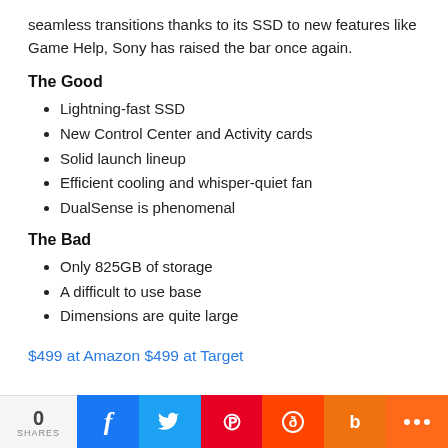seamless transitions thanks to its SSD to new features like Game Help, Sony has raised the bar once again.
The Good
Lightning-fast SSD
New Control Center and Activity cards
Solid launch lineup
Efficient cooling and whisper-quiet fan
DualSense is phenomenal
The Bad
Only 825GB of storage
A difficult to use base
Dimensions are quite large
$499 at Amazon $499 at Target
0 SHARES | Facebook | Twitter | Pinterest | Reddit | Buzz | More